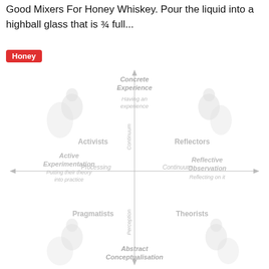Good Mixers For Honey Whiskey. Pour the liquid into a highball glass that is ¾ full...
Honey
[Figure (infographic): Kolb learning styles diagram showing four quadrants with axes: Concrete Experience (top), Abstract Conceptualisation (bottom), Active Experimentation / Processing Continuum (left), Reflective Observation (right), and four learner types: Activists (upper left), Reflectors (upper right), Pragmatists (lower left), Theorists (lower right). Vertical axis labelled 'Continuum' (upper) and 'Perception' (lower). Horizontal axis labelled 'Processing' and 'Continuum'. Faint figures of people in each quadrant.]